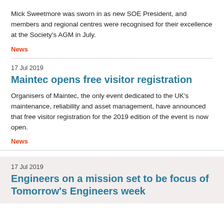Mick Sweetmore was sworn in as new SOE President, and members and regional centres were recognised for their excellence at the Society's AGM in July.
News
17 Jul 2019
Maintec opens free visitor registration
Organisers of Maintec, the only event dedicated to the UK's maintenance, reliability and asset management, have announced that free visitor registration for the 2019 edition of the event is now open.
News
17 Jul 2019
Engineers on a mission set to be focus of Tomorrow's Engineers week